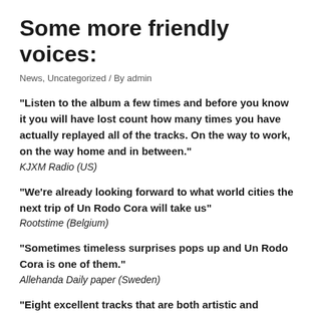Some more friendly voices:
News, Uncategorized / By admin
“Listen to the album a few times and before you know it you will have lost count how many times you have actually replayed all of the tracks. On the way to work, on the way home and in between.”
KJXM Radio (US)
“We’re already looking forward to what world cities the next trip of Un Rodo Cora will take us”
Rootstime (Belgium)
“Sometimes timeless surprises pops up and Un Rodo Cora is one of them.”
Allehanda Daily paper (Sweden)
“Eight excellent tracks that are both artistic and listening-friendly. The tone is a bit retro, but still very modern. Maybe it’s